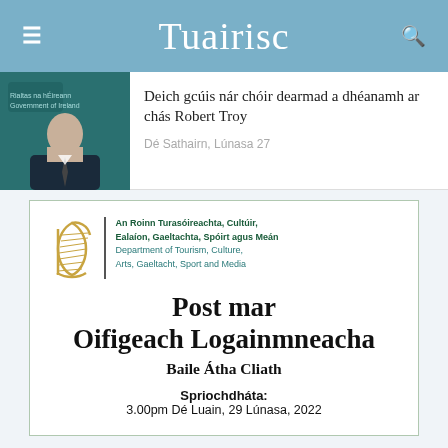Tuairisc
Deich gcúis nár chóir dearmad a dhéanamh ar chás Robert Troy
Dé Sathairn, Lúnasa 27
[Figure (logo): Irish Government harp logo with department name: An Roinn Turasóireachta, Cultúir, Ealaíon, Gaeltachta, Spóirt agus Meán / Department of Tourism, Culture, Arts, Gaeltacht, Sport and Media]
Post mar Oifigeach Logainmneacha
Baile Átha Cliath
Spriochdháta:
3.00pm Dé Luain, 29 Lúnasa, 2022